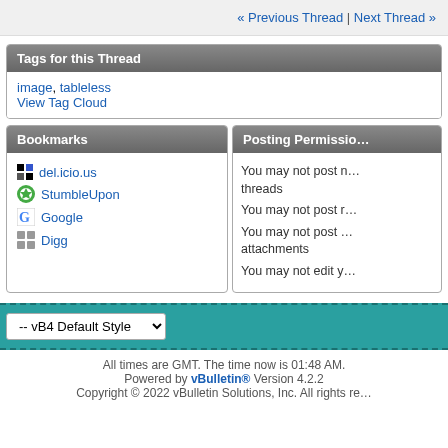« Previous Thread | Next Thread »
Tags for this Thread
image, tableless
View Tag Cloud
Bookmarks
del.icio.us
StumbleUpon
Google
Digg
Posting Permissio…
You may not post n… threads
You may not post r…
You may not post … attachments
You may not edit y…
-- vB4 Default Style
All times are GMT. The time now is 01:48 AM.
Powered by vBulletin® Version 4.2.2
Copyright © 2022 vBulletin Solutions, Inc. All rights re…